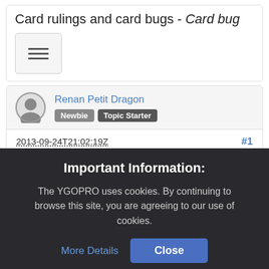Card rulings and card bugs - Card bug
[Figure (other): Hamburger menu button icon with three horizontal lines]
Renan Petit Dragon
Newbie  Topic Starter
2013-09-24T21:02:19Z
#1
The card "Snake Whistle" isn't working.
Important Information:
The YGOPRO uses cookies. By continuing to browse this site, you are agreeing to our use of cookies.
More Details
Close